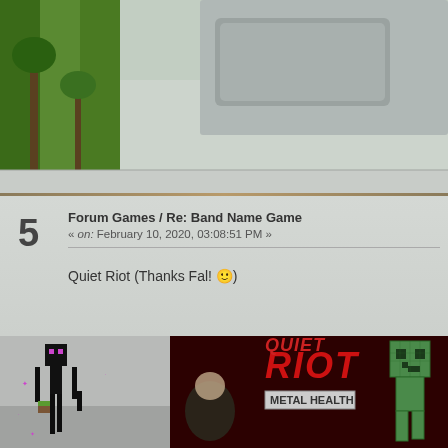[Figure (screenshot): Top portion showing a Minecraft-themed forum background with greenery on the left and a gray UI element (app window/button) on the right]
Forum Games / Re: Band Name Game
« on: February 10, 2020, 03:08:51 PM »
Quiet Riot (Thanks Fal! 🙂)
[Figure (screenshot): Bottom section showing a Minecraft Enderman character on the left, and Quiet Riot 'Metal Health' album cover on the right with a Creeper character overlay]